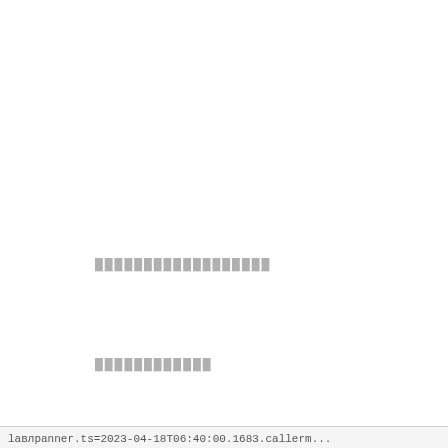██████████████████
████████████
███████
lавлpаnner.ts=2023-04-18T06:40:00.1683.callerm...